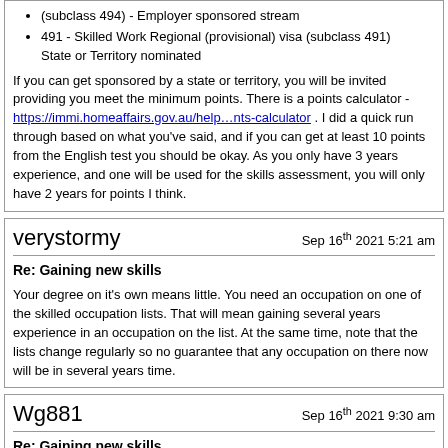(subclass 494) - Employer sponsored stream
491 - Skilled Work Regional (provisional) visa (subclass 491) State or Territory nominated
If you can get sponsored by a state or territory, you will be invited providing you meet the minimum points. There is a points calculator - https://immi.homeaffairs.gov.au/help…nts-calculator . I did a quick run through based on what you've said, and if you can get at least 10 points from the English test you should be okay. As you only have 3 years experience, and one will be used for the skills assessment, you will only have 2 years for points I think.
verystormy — Sep 16th 2021 5:21 am
Re: Gaining new skills
Your degree on it's own means little. You need an occupation on one of the skilled occupation lists. That will mean gaining several years experience in an occupation on the list. At the same time, note that the lists change regularly so no guarantee that any occupation on there now will be in several years time.
Wg881 — Sep 16th 2021 9:30 am
Re: Gaining new skills
Quote: